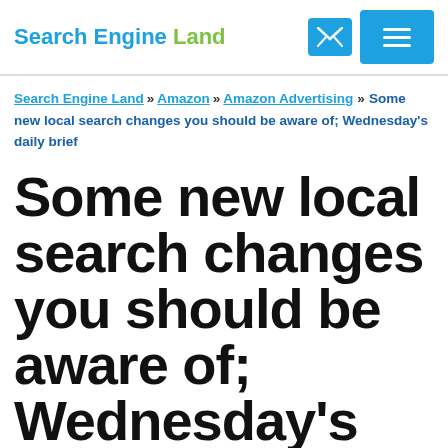Search Engine Land
Search Engine Land » Amazon » Amazon Advertising » Some new local search changes you should be aware of; Wednesday's daily brief
Some new local search changes you should be aware of; Wednesday's daily brief
Also, Google updated its event structured